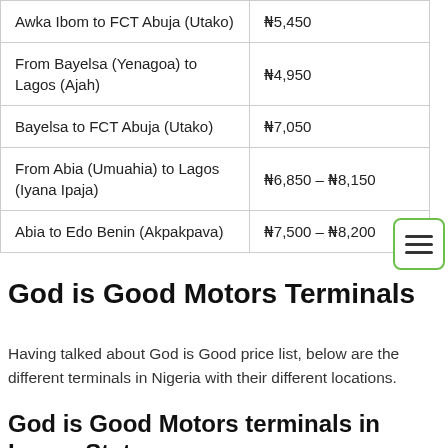| Route | Price |
| --- | --- |
| Awka Ibom to FCT Abuja (Utako) | ₦5,450 |
| From Bayelsa (Yenagoa) to Lagos (Ajah) | ₦4,950 |
| Bayelsa to FCT Abuja (Utako) | ₦7,050 |
| From Abia (Umuahia) to Lagos (Iyana Ipaja) | ₦6,850 – ₦8,150 |
| Abia to Edo Benin (Akpakpava) | ₦7,500 – ₦8,200 |
God is Good Motors Terminals
Having talked about God is Good price list, below are the different terminals in Nigeria with their different locations.
God is Good Motors terminals in Lagos State